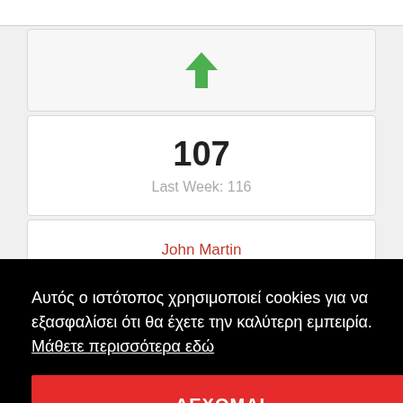[Figure (screenshot): Green upward arrow icon in a light gray card]
107
Last Week: 116
John Martin
Anywhere For You
Αυτός ο ιστότοπος χρησιμοποιεί cookies για να εξασφαλίσει ότι θα έχετε την καλύτερη εμπειρία.  Μάθετε περισσότερα εδώ
ΔΕΧΟΜΑΙ